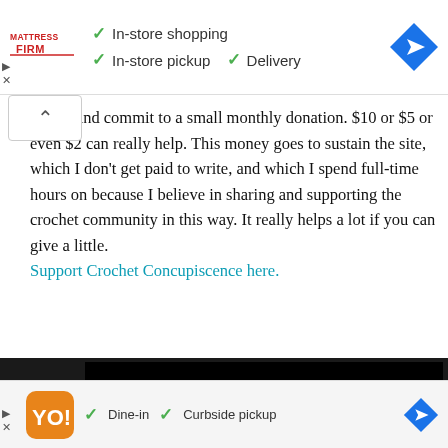[Figure (screenshot): Mattress Firm advertisement banner with logo, checkmarks for In-store shopping, In-store pickup, Delivery, and a blue navigation arrow icon]
ign up and commit to a small monthly donation. $10 or $5 or even $2 can really help. This money goes to sustain the site, which I don't get paid to write, and which I spend full-time hours on because I believe in sharing and supporting the crochet community in this way. It really helps a lot if you can give a little. Support Crochet Concupiscence here.
[Figure (screenshot): Video player with dark/black background and a white arrow/play icon in the center]
[Figure (screenshot): Restaurant advertisement banner with orange logo, checkmarks for Dine-in and Curbside pickup, and a blue navigation arrow icon]